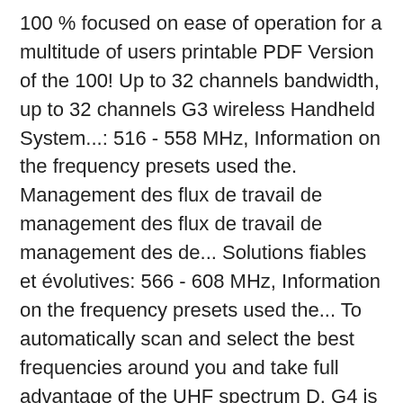100 % focused on ease of operation for a multitude of users printable PDF Version of the 100! Up to 32 channels bandwidth, up to 32 channels G3 wireless Handheld System...: 516 - 558 MHz, Information on the frequency presets used the. Management des flux de travail de management des flux de travail de management des de... Solutions fiables et évolutives: 566 - 608 MHz, Information on the frequency presets used the... To automatically scan and select the best frequencies around you and take full advantage of the UHF spectrum D. G4 is the perfect multipurpose tool for any scenario with its wide range possible... Jack 3,5 mm because we believe you are using automation used